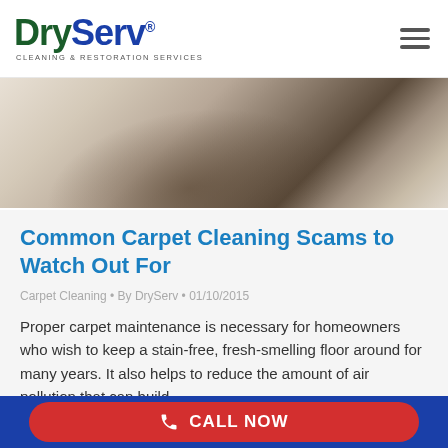[Figure (logo): DryServ Cleaning & Restoration Services logo with dark green 'Dry' and dark blue 'Serv' text]
[Figure (photo): Close-up photo of a carpet or flooring surface with soft focus and warm tones]
Common Carpet Cleaning Scams to Watch Out For
Carpet Cleaning • By DryServ • 01/10/2015
Proper carpet maintenance is necessary for homeowners who wish to keep a stain-free, fresh-smelling floor around for many years. It also helps to reduce the amount of air pollution that can build
CALL NOW